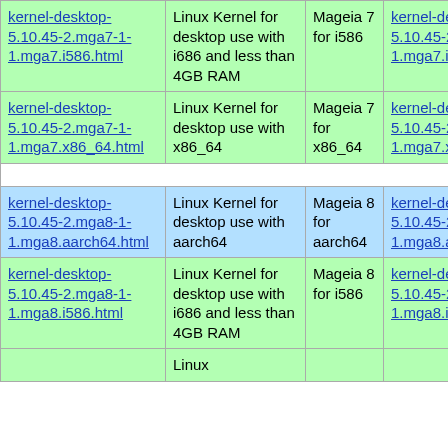| Package | Description | Distribution | RPM |
| --- | --- | --- | --- |
| kernel-desktop-5.10.45-2.mga7-1-1.mga7.i586.html | Linux Kernel for desktop use with i686 and less than 4GB RAM | Mageia 7 for i586 | kernel-desktop-5.10.45-2.mga7-1-1.mga7.i586.rpm |
| kernel-desktop-5.10.45-2.mga7-1-1.mga7.x86_64.html | Linux Kernel for desktop use with x86_64 | Mageia 7 for x86_64 | kernel-desktop-5.10.45-2.mga7-1-1.mga7.x86_64.rpm |
| kernel-desktop-5.10.45-2.mga8-1-1.mga8.aarch64.html | Linux Kernel for desktop use with aarch64 | Mageia 8 for aarch64 | kernel-desktop-5.10.45-2.mga8-1-1.mga8.aarch64.rpm |
| kernel-desktop-5.10.45-2.mga8-1-1.mga8.i586.html | Linux Kernel for desktop use with i686 and less than 4GB RAM | Mageia 8 for i586 | kernel-desktop-5.10.45-2.mga8-1-1.mga8.i586.rpm |